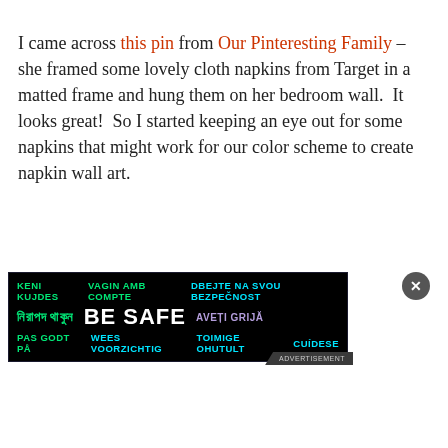I came across this pin from Our Pinteresting Family – she framed some lovely cloth napkins from Target in a matted frame and hung them on her bedroom wall.  It looks great!  So I started keeping an eye out for some napkins that might work for our color scheme to create napkin wall art.
[Figure (infographic): Advertisement banner with black background showing 'BE SAFE' in large white text surrounded by translations in multiple languages and colors: KENI KUJDES (green), VAGIN AMB COMPTE (green), DBEJTE NA SVOU BEZPEČNOST (cyan), Bengali text (green), AVEȚI GRIJĂ (purple), PAS GODT PÅ (green), WEES VOORZICHTIG (cyan), TOIMIGE OHUTULT (cyan), CUÍDESE (cyan). Advertisement label in bottom right corner with a close X button.]